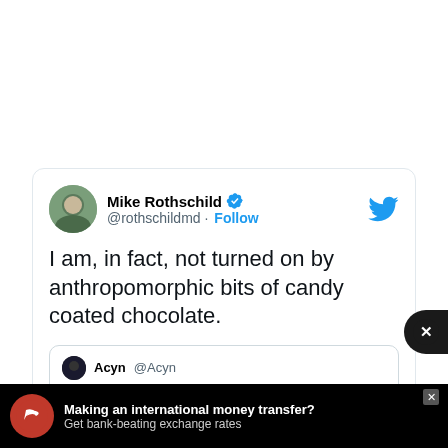[Figure (screenshot): Tweet from Mike Rothschild (@rothschildmd) with blue verified checkmark and Follow button. Tweet text: 'I am, in fact, not turned on by anthropomorphic bits of candy coated chocolate.' Quoted tweet from Acyn @Acyn: 'Tucker: M&M's will not be satisfied until every last cartoon character is deeply unappealing and totally androgynous. Until the moment you wouldn't want to have...' (truncated). Advertisement banner at bottom: 'Making an international money transfer? Get bank-beating exchange rates' on black background with red logo.]